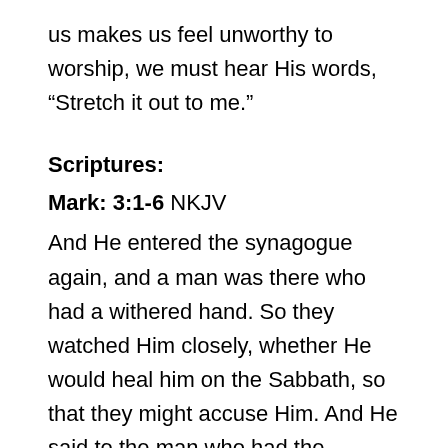us makes us feel unworthy to worship, we must hear His words, “Stretch it out to me.”
Scriptures:
Mark: 3:1-6 NKJV
And He entered the synagogue again, and a man was there who had a withered hand. So they watched Him closely, whether He would heal him on the Sabbath, so that they might accuse Him. And He said to the man who had the withered hand, “Step forward.” Then He said to them, “Is it lawful on the Sabbath to do good or to do evil, to save life or to kill?” But they kept silent. And when